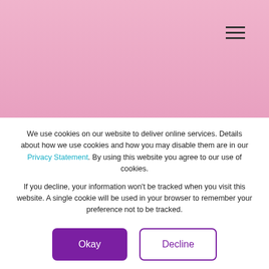[Figure (screenshot): Pink gradient header background of website]
[Figure (screenshot): Hamburger menu icon (three horizontal lines) in top right corner]
[Figure (screenshot): Magenta-to-purple gradient banner section]
← Back to Klearly Blog
Blog
We use cookies on our website to deliver online services. Details about how we use cookies and how you may disable them are in our Privacy Statement. By using this website you agree to our use of cookies.
If you decline, your information won't be tracked when you visit this website. A single cookie will be used in your browser to remember your preference not to be tracked.
Okay
Decline